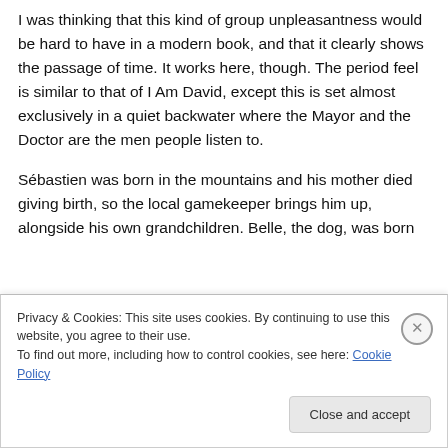I was thinking that this kind of group unpleasantness would be hard to have in a modern book, and that it clearly shows the passage of time. It works here, though. The period feel is similar to that of I Am David, except this is set almost exclusively in a quiet backwater where the Mayor and the Doctor are the men people listen to.
Sébastien was born in the mountains and his mother died giving birth, so the local gamekeeper brings him up, alongside his own grandchildren. Belle, the dog, was born
Privacy & Cookies: This site uses cookies. By continuing to use this website, you agree to their use.
To find out more, including how to control cookies, see here: Cookie Policy